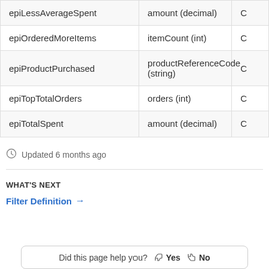| epiLessAverageSpent | amount (decimal) | C |
| epiOrderedMoreItems | itemCount (int) | C |
| epiProductPurchased | productReferenceCode (string) | C |
| epiTopTotalOrders | orders (int) | C |
| epiTotalSpent | amount (decimal) | C |
Updated 6 months ago
WHAT'S NEXT
Filter Definition →
Did this page help you? Yes No